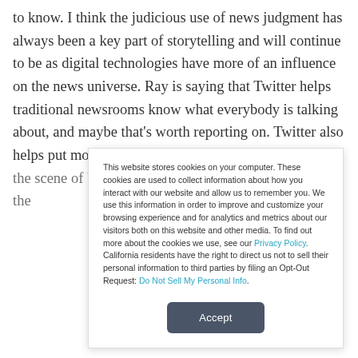to know. I think the judicious use of news judgment has always been a key part of storytelling and will continue to be as digital technologies have more of an influence on the news universe. Ray is saying that Twitter helps traditional newsrooms know what everybody is talking about, and maybe that's worth reporting on. Twitter also helps put more citizen journalists at the scene of breaking news stories like the "Miracle on the
This website stores cookies on your computer. These cookies are used to collect information about how you interact with our website and allow us to remember you. We use this information in order to improve and customize your browsing experience and for analytics and metrics about our visitors both on this website and other media. To find out more about the cookies we use, see our Privacy Policy. California residents have the right to direct us not to sell their personal information to third parties by filing an Opt-Out Request: Do Not Sell My Personal Info.